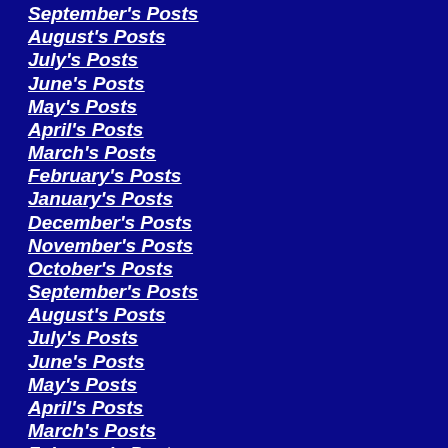September's Posts
August's Posts
July's Posts
June's Posts
May's Posts
April's Posts
March's Posts
February's Posts
January's Posts
December's Posts
November's Posts
October's Posts
September's Posts
August's Posts
July's Posts
June's Posts
May's Posts
April's Posts
March's Posts
February's Posts
January's Posts
December's Posts
November's Posts
October's Posts